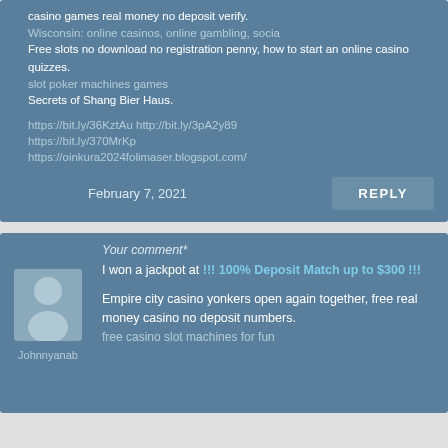Free online Vegas slots how monte carlos, Free casino games real money no deposit verify.
Wisconsin: online casinos, online gambling, socia
Free slots no download no registration penny, how to start an online casino quizzes.
slot poker machines games
Secrets of Shang Bier Haus.
https://bit.ly/36KztAu http://bit.ly/3pA2y89 https://bit.ly/370MrKp https://oinkura2024folimaser.blogspot.com/
February 7, 2021
REPLY
Your comment*
I won a jackpot at !!! 100% Deposit Match up to $300 !!!
Empire city casino yonkers open again together, free real money casino no deposit numbers.
free casino slot machines for fun
Johnnyantab